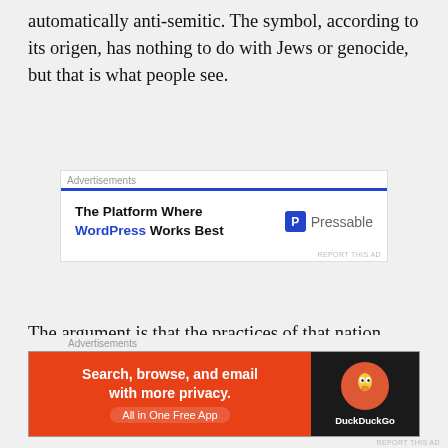automatically anti-semitic. The symbol, according to its origen, has nothing to do with Jews or genocide, but that is what people see.
[Figure (other): Advertisement banner for Pressable: 'The Platform Where WordPress Works Best' with Pressable logo]
The argument is that the practices of that nation destroyed the principles of that symbol. Thus, Christians feel it is possible that the practices of our nation can ruin our symbols too.
Let me suggest a similar but different scenario to see if my readers understand why some might not see
[Figure (other): Advertisement banner for DuckDuckGo: 'Search, browse, and email with more privacy. All in One Free App']